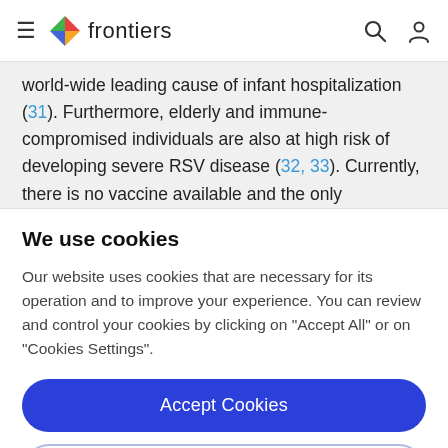frontiers
world-wide leading cause of infant hospitalization (31). Furthermore, elderly and immune-compromised individuals are also at high risk of developing severe RSV disease (32, 33). Currently, there is no vaccine available and the only commercially available prophylactic
We use cookies
Our website uses cookies that are necessary for its operation and to improve your experience. You can review and control your cookies by clicking on "Accept All" or on "Cookies Settings".
Accept Cookies
Cookies Settings